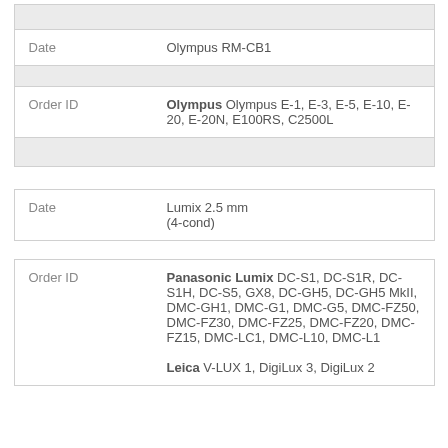| Field | Value |
| --- | --- |
|  |  |
| Date | Olympus RM-CB1 |
|  |  |
| Order ID | Olympus Olympus E-1, E-3, E-5, E-10, E-20, E-20N, E100RS, C2500L |
|  |  |
| Field | Value |
| --- | --- |
| Date | Lumix 2.5 mm (4-cond) |
| Order ID | Panasonic Lumix DC-S1, DC-S1R, DC-S1H, DC-S5, GX8, DC-GH5, DC-GH5 MkII, DMC-GH1, DMC-G1, DMC-G5, DMC-FZ50, DMC-FZ30, DMC-FZ25, DMC-FZ20, DMC-FZ15, DMC-LC1, DMC-L10, DMC-L1

Leica V-LUX 1, DigiLux 3, DigiLux 2 |